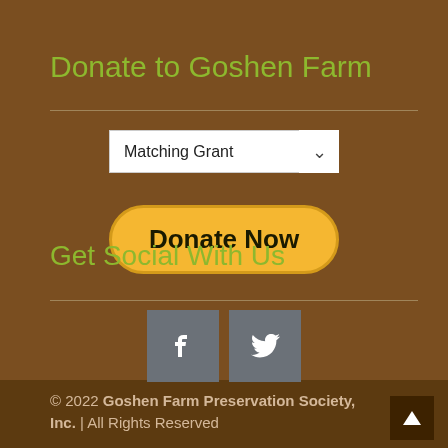Donate to Goshen Farm
[Figure (screenshot): Dropdown selector showing 'Matching Grant' with chevron arrow]
[Figure (other): Yellow rounded 'Donate Now' button]
Get Social With Us
[Figure (other): Facebook and Twitter social media icon buttons in gray squares]
© 2022 Goshen Farm Preservation Society, Inc. | All Rights Reserved